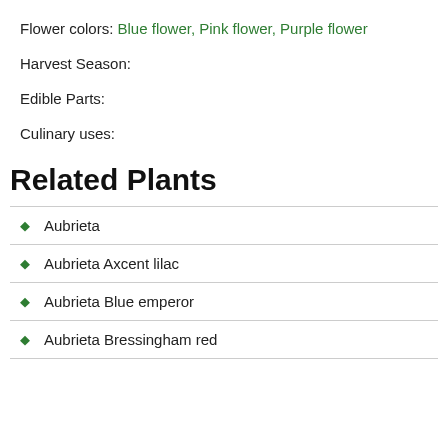Flower colors: Blue flower, Pink flower, Purple flower
Harvest Season:
Edible Parts:
Culinary uses:
Related Plants
Aubrieta
Aubrieta Axcent lilac
Aubrieta Blue emperor
Aubrieta Bressingham red